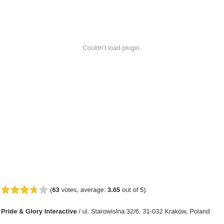Couldn't load plugin.
(63 votes, average: 3.65 out of 5)
Pride & Glory Interactive / ul. Starowislna 32/6, 31-032 Kraków, Poland